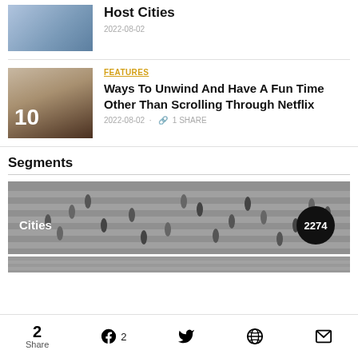[Figure (photo): Thumbnail image of hands on a laptop, aerial view]
Host Cities
2022-08-02
FEATURES
[Figure (photo): Thumbnail of person at laptop with number 10 overlay]
10 Ways To Unwind And Have A Fun Time Other Than Scrolling Through Netflix
2022-08-02  ·  🔗  1 SHARE
Segments
[Figure (photo): Aerial crowd crosswalk photo labeled Cities with count 2274]
[Figure (photo): Partial strip of another segment banner]
2 Share  Facebook 2  Twitter  Reddit  Email